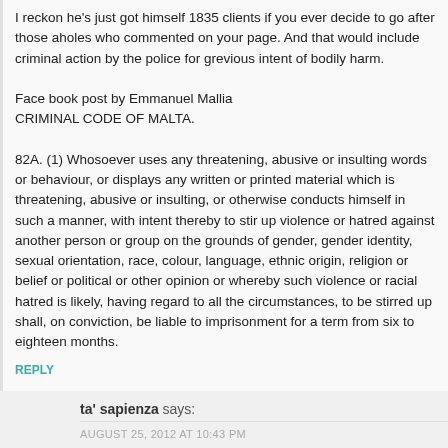I reckon he's just got himself 1835 clients if you ever decide to go after those aholes who commented on your page. And that would include criminal action by the police for grevious intent of bodily harm.

Face book post by Emmanuel Mallia
CRIMINAL CODE OF MALTA.

82A. (1) Whosoever uses any threatening, abusive or insulting words or behaviour, or displays any written or printed material which is threatening, abusive or insulting, or otherwise conducts himself in such a manner, with intent thereby to stir up violence or hatred against another person or group on the grounds of gender, gender identity, sexual orientation, race, colour, language, ethnic origin, religion or belief or political or other opinion or whereby such violence or racial hatred is likely, having regard to all the circumstances, to be stirred up shall, on conviction, be liable to imprisonment for a term from six to eighteen months.
REPLY
ta' sapienza says:
AUGUST 25, 2012 AT 10:43 PM
What do you call a class action in reverse?
REPLY